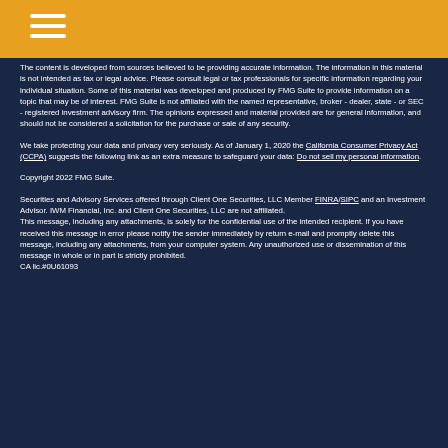The content is developed from sources believed to be providing accurate information. The information in this material is not intended as tax or legal advice. Please consult legal or tax professionals for specific information regarding your individual situation. Some of this material was developed and produced by FMG Suite to provide information on a topic that may be of interest. FMG Suite is not affiliated with the named representative, broker - dealer, state - or SEC - registered investment advisory firm. The opinions expressed and material provided are for general information, and should not be considered a solicitation for the purchase or sale of any security.
We take protecting your data and privacy very seriously. As of January 1, 2020 the California Consumer Privacy Act (CCPA) suggests the following link as an extra measure to safeguard your data: Do not sell my personal information.
Copyright 2022 FMG Suite.
Securities and Advisory Services offered through Client One Securities, LLC Member FINRA/SIPC and an Investment Advisor. IWM Financial, Inc. and Client One Securities, LLC are not affiliated.
This message, including any attachments, is solely for the confidential use of the intended recipient. If you have received this message in error please notify the sender immediately by return e-mail and promptly delete this message, including any attachments, from your computer system. Any unauthorized use or dissemination of this message in whole or in part is strictly prohibited.
CA lic.#0U61093